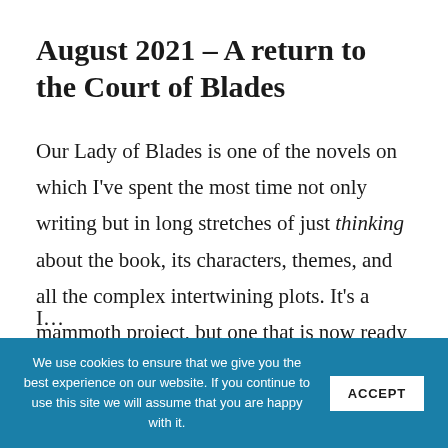August 2021 – A return to the Court of Blades
Our Lady of Blades is one of the novels on which I've spent the most time not only writing but in long stretches of just thinking about the book, its characters, themes, and all the complex intertwining plots. It's a mammoth project, but one that is now ready to get done . . . I hope!
I… [partial text cut off at page bottom]
We use cookies to ensure that we give you the best experience on our website. If you continue to use this site we will assume that you are happy with it. ACCEPT